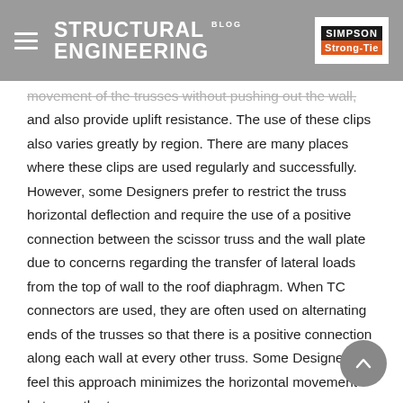STRUCTURAL ENGINEERING BLOG | Simpson Strong-Tie
movement of the trusses without pushing out the wall, and also provide uplift resistance. The use of these clips also varies greatly by region. There are many places where these clips are used regularly and successfully. However, some Designers prefer to restrict the truss horizontal deflection and require the use of a positive connection between the scissor truss and the wall plate due to concerns regarding the transfer of lateral loads from the top of wall to the roof diaphragm. When TC connectors are used, they are often used on alternating ends of the trusses so that there is a positive connection along each wall at every other truss. Some Designers feel this approach minimizes the horizontal movement between the truss